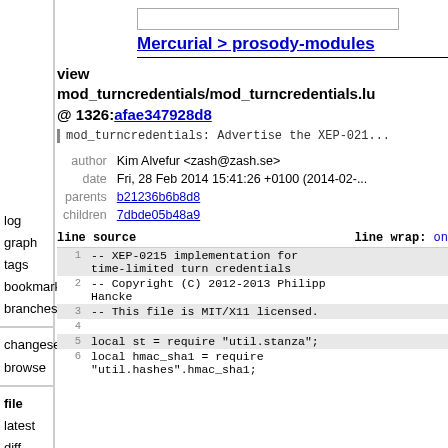Mercurial > prosody-modules
view mod_turncredentials/mod_turncredentials.lu @ 1326:afae347928d8
mod_turncredentials: Advertise the XEP-021...
author Kim Alvefur <zash@zash.se>
date Fri, 28 Feb 2014 15:41:26 +0100 (2014-02-...)
parents b21236b6b8d8
children 7dbde05b48a9
| line | source | line wrap: on |
| --- | --- | --- |
| 1 | -- XEP-0215 implementation for time-limited turn credentials |  |
| 2 | -- Copyright (C) 2012-2013 Philipp Hancke |  |
| 3 | -- This file is MIT/X11 licensed. |  |
| 4 |  |  |
| 5 | local st = require "util.stanza"; |  |
| 6 | local hmac_sha1 = require "util.hashes".hmac_sha1; |  |